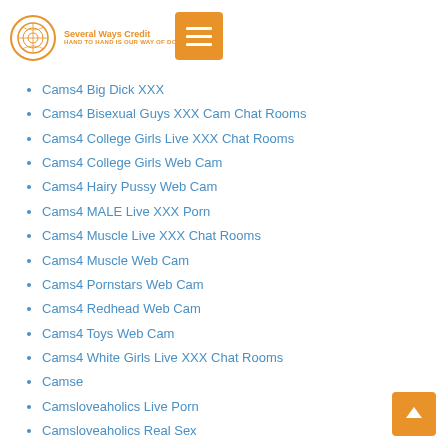Several Ways Credit Union - HAND TO HAND IS OUR WAY OF DOING
Cams4 Big Dick XXX
Cams4 Bisexual Guys XXX Cam Chat Rooms
Cams4 College Girls Live XXX Chat Rooms
Cams4 College Girls Web Cam
Cams4 Hairy Pussy Web Cam
Cams4 MALE Live XXX Porn
Cams4 Muscle Live XXX Chat Rooms
Cams4 Muscle Web Cam
Cams4 Pornstars Web Cam
Cams4 Redhead Web Cam
Cams4 Toys Web Cam
Cams4 White Girls Live XXX Chat Rooms
Camse
Camsloveaholics Live Porn
Camsloveaholics Real Sex
Camsloveaholics Web Cam Chat
Camsloveaholics Web Cams
Camsloveaholics Web Cams Chat Room
Camsloveaholics Web Cams Chat Rooms